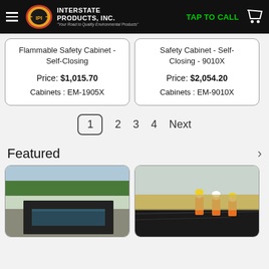Interstate Products, Inc. — TAP TO CALL
Flammable Safety Cabinet - Self-Closing
Price: $1,015.70
Cabinets : EM-1905X
Safety Cabinet - Self-Closing - 9010X
Price: $2,054.20
Cabinets : EM-9010X
1  2  3  4  Next
Featured
[Figure (photo): Portable containment berm filled with water, set on a paved surface outdoors with trees in background]
[Figure (photo): Workers in orange safety vests laying out black containment liner in an open field]